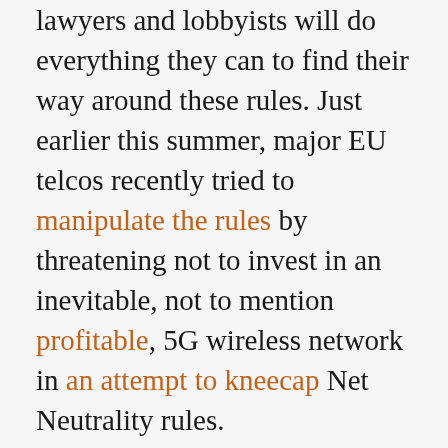lawyers and lobbyists will do everything they can to find their way around these rules. Just earlier this summer, major EU telcos recently tried to manipulate the rules by threatening not to invest in an inevitable, not to mention profitable, 5G wireless network in an attempt to kneecap Net Neutrality rules.
The public sphere must stay on its toes to ensure the spirit of the guidelines are followed. One tool that will allow for this is Respect My Net, where people can track Net Neutrality violations to help keep track of the different ways giant telcos violate our online freedoms.
And in countries where guidelines are being looked at now, like Canada, we must make sure